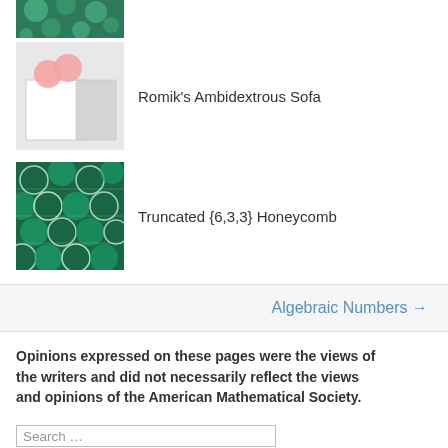[Figure (illustration): Partial thumbnail image of a 3D green geometric/crystalline structure at the very top of the page]
Romik's Ambidextrous Sofa
Truncated {6,3,3} Honeycomb
Algebraic Numbers →
Opinions expressed on these pages were the views of the writers and did not necessarily reflect the views and opinions of the American Mathematical Society.
Search …